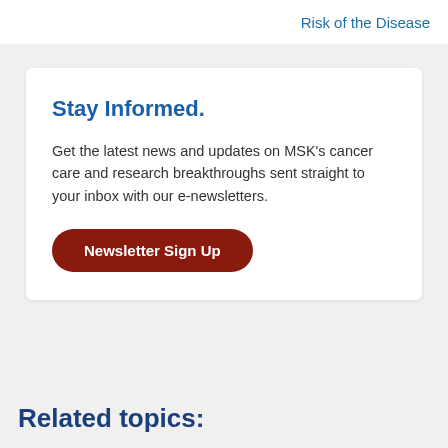Risk of the Disease
Stay Informed.
Get the latest news and updates on MSK’s cancer care and research breakthroughs sent straight to your inbox with our e-newsletters.
Newsletter Sign Up
Related topics: